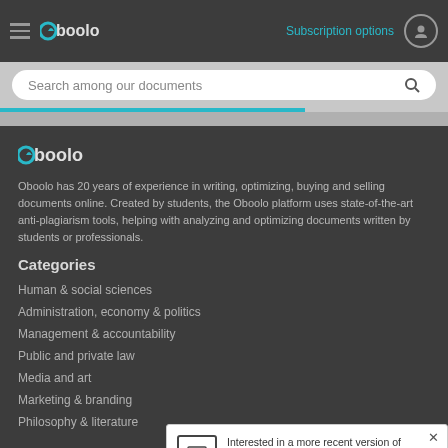Oboolo — Subscription options
[Figure (screenshot): Oboolo website header with hamburger menu, Oboolo logo, Subscription options link, user icon, search bar, and navigation]
[Figure (logo): Oboolo logo in footer section]
Oboolo has 20 years of experience in writing, optimizing, buying and selling documents online. Created by students, the Oboolo platform uses state-of-the-art anti-plagiarism tools, helping with analyzing and optimizing documents written by students or professionals.
Categories
Human & social sciences
Administration, economy & politics
Management & accountability
Public and private law
Media and art
Marketing & branding
Philosophy & literature
Interested in a more recent version of this document? Contact us